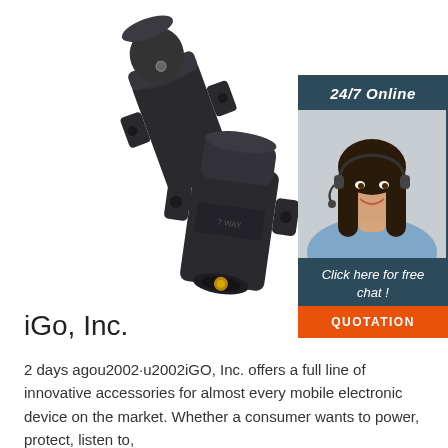[Figure (photo): Two black cylindrical electrical connectors/plugs, one with a yellow ring, shown on white background]
[Figure (infographic): Sidebar ad with dark blue background showing a woman with headset smiling, text '24/7 Online', 'Click here for free chat!', and an orange button labeled 'QUOTATION']
iGo, Inc.
2 days agou2002·u2002iGO, Inc. offers a full line of innovative accessories for almost every mobile electronic device on the market. Whether a consumer wants to power, protect, listen to,